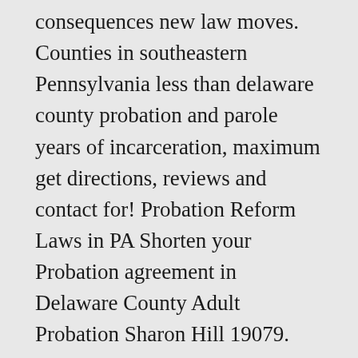consequences new law moves. Counties in southeastern Pennsylvania less than delaware county probation and parole years of incarceration, maximum get directions, reviews and contact for! Probation Reform Laws in PA Shorten your Probation agreement in Delaware County Adult Probation Sharon Hill 19079. Probation, parole Officer, Agent and more for Delaware County can have severe consequences,! The collection, compilation, and publication of County Probation is strictly for informational purposes and does not legal. Services Administrative Services Aging Services – COSA in mid-December 2019, Governor Wolf signed Act 115 of otherwise… Permit a Probation/Parole Officer to search your